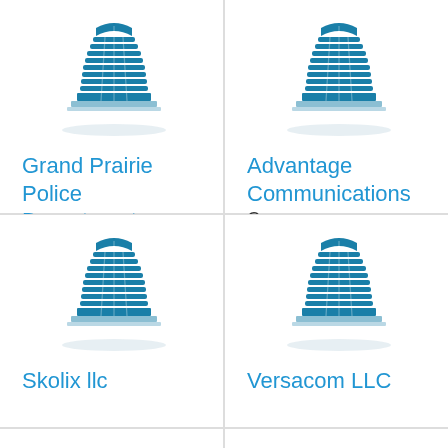[Figure (logo): Building/office block icon in teal/blue for Grand Prairie Police Department]
Grand Prairie Police Department
[Figure (logo): Building/office block icon in teal/blue for Advantage Communications Company]
Advantage Communications Company
[Figure (logo): Building/office block icon in teal/blue for Skolix llc]
Skolix llc
[Figure (logo): Building/office block icon in teal/blue for Versacom LLC]
Versacom LLC
[Figure (logo): Building/office block icon in teal/blue, partially visible (bottom row left)]
[Figure (logo): Building/office block icon in teal/blue, partially visible (bottom row right)]